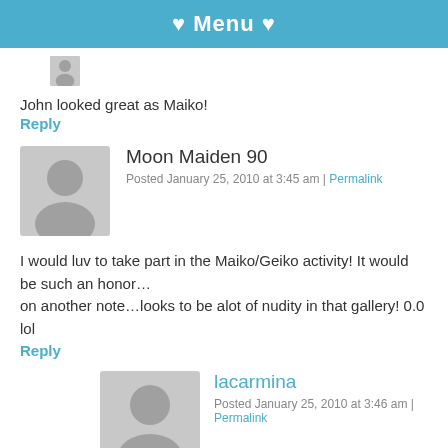♥ Menu ♥
John looked great as Maiko!
Reply
[Figure (illustration): Grey avatar placeholder silhouette for Moon Maiden 90]
Moon Maiden 90
Posted January 25, 2010 at 3:45 am | Permalink
I would luv to take part in the Maiko/Geiko activity! It would be such an honor…
on another note…looks to be alot of nudity in that gallery! 0.0 lol
Reply
[Figure (illustration): Grey avatar placeholder silhouette for lacarmina]
lacarmina
Posted January 25, 2010 at 3:46 am | Permalink
[Figure (illustration): Social media icons: Facebook, Twitter, Pinterest, LinkedIn]